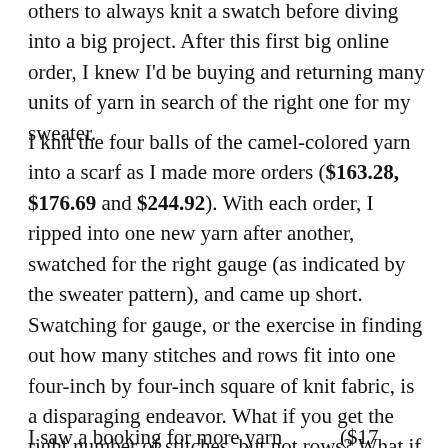others to always knit a swatch before diving into a big project. After this first big online order, I knew I'd be buying and returning many units of yarn in search of the right one for my sweater.
I knit the four balls of the camel-colored yarn into a scarf as I made more orders ($163.28, $176.69 and $244.92). With each order, I ripped into one new yarn after another, swatched for the right gauge (as indicated by the sweater pattern), and came up short. Swatching for gauge, or the exercise in finding out how many stitches and rows fit into one four-inch by four-inch square of knit fabric, is a disparaging endeavor. What if you get the right number of stitches, but not rows? What if you like the way the fabric turned out and don't want to try to alter the density by going down in needle size to get gauge? I'll tell you what happens. You try new yarn.
I saw a booking for more yarn...